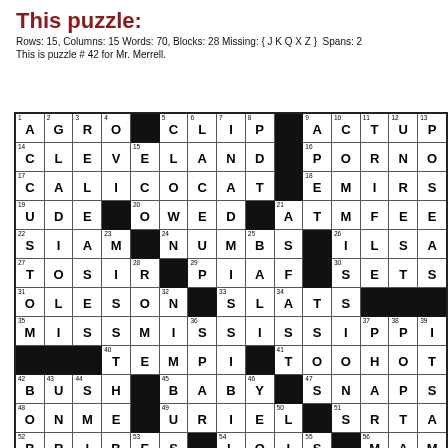This puzzle:
Rows: 15, Columns: 15 Words: 70, Blocks: 28 Missing: { J K Q X Z }  Spans: 2
This is puzzle # 42 for Mr. Merrell.
[Figure (other): 15x15 crossword puzzle grid with filled black squares and letter/number entries]